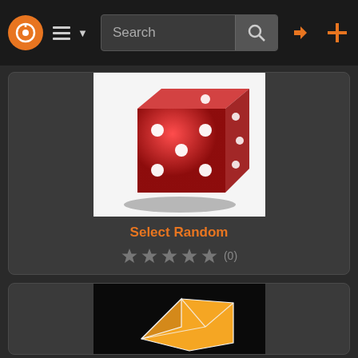Navigation bar with logo, menu, search, login and add icons
[Figure (screenshot): Red translucent die on white background showing multiple faces with white dots]
Select Random
★★★★★ (0)
[Figure (illustration): Orange 3D geometric shape (cube/rhombus) with white edge lines on black background]